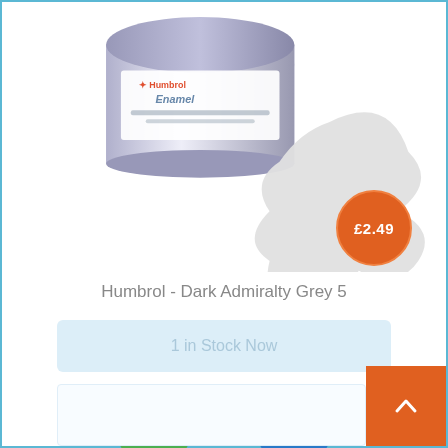[Figure (photo): Humbrol Enamel paint tin with a grey paint splash/blob next to it, and an orange price badge showing £2.49]
Humbrol - Dark Admiralty Grey 5
1 in Stock Now
[Figure (illustration): Green shopping cart button icon]
[Figure (illustration): Blue heart/wishlist button icon]
[Figure (illustration): Orange back-to-top arrow button in bottom right corner]